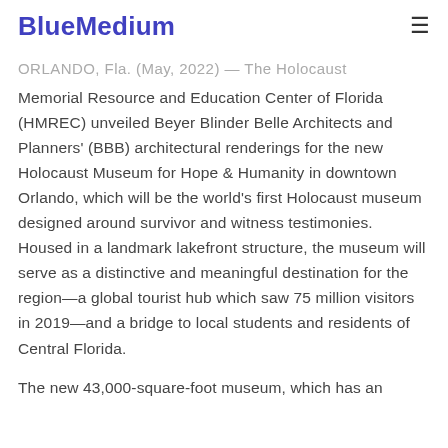BlueMedium ≡
ORLANDO, Fla. (May, 2022) — The Holocaust Memorial Resource and Education Center of Florida (HMREC) unveiled Beyer Blinder Belle Architects and Planners' (BBB) architectural renderings for the new Holocaust Museum for Hope & Humanity in downtown Orlando, which will be the world's first Holocaust museum designed around survivor and witness testimonies. Housed in a landmark lakefront structure, the museum will serve as a distinctive and meaningful destination for the region—a global tourist hub which saw 75 million visitors in 2019—and a bridge to local students and residents of Central Florida.
The new 43,000-square-foot museum, which has an